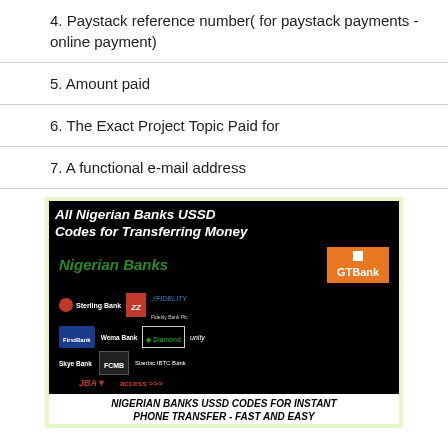4. Paystack reference number( for paystack payments - online payment)
5. Amount paid
6. The Exact Project Topic Paid for
7. A functional e-mail address
[Figure (infographic): All Nigerian Banks USSD Codes for Transferring Money - shows various Nigerian bank logos including Sterling Bank, Zenith Bank, Fidelity Bank, GTBank, FirstBank, Diamond Bank, Unity Bank, Wema Bank, FCMB, Stanbic IBTC Bank, Skye Bank, UBA, Access Bank on a black background with green header area.]
NIGERIAN BANKS USSD CODES FOR INSTANT PHONE TRANSFER - FAST AND EASY